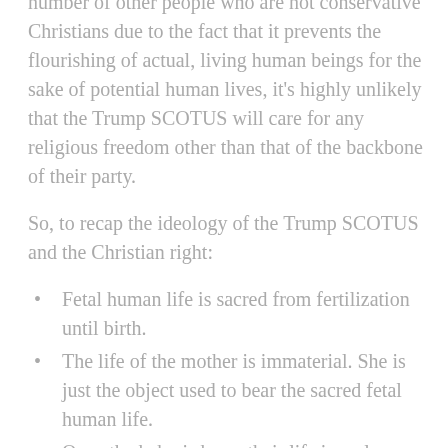number of other people who are not conservative Christians due to the fact that it prevents the flourishing of actual, living human beings for the sake of potential human lives, it's highly unlikely that the Trump SCOTUS will care for any religious freedom other than that of the backbone of their party.
So, to recap the ideology of the Trump SCOTUS and the Christian right:
Fetal human life is sacred from fertilization until birth.
The life of the mother is immaterial. She is just the object used to bear the sacred fetal human life.
Once the baby is born, their life is no longer